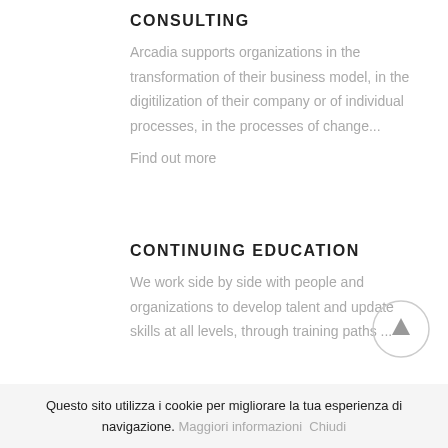CONSULTING
Arcadia supports organizations in the transformation of their business model, in the digitilization of their company or of individual processes, in the processes of change...
Find out more
CONTINUING EDUCATION
We work side by side with people and organizations to develop talent and update skills at all levels, through training paths ...
[Figure (other): Circular scroll-to-top button with upward arrow]
Questo sito utilizza i cookie per migliorare la tua esperienza di navigazione. Maggiori informazioni Chiudi